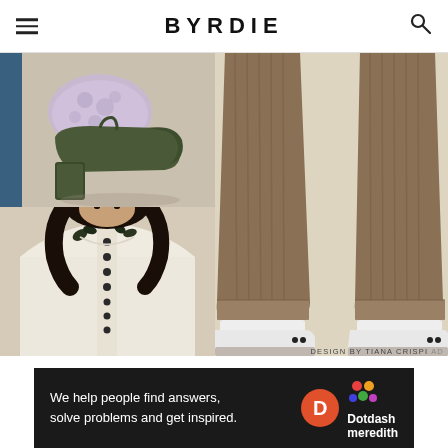BYRDIE
[Figure (photo): Close-up of dark olive green block heel shoes worn with light purple patterned socks against a beige background]
[Figure (photo): Woman wearing cream knit cardigan with dark buttons and dark olive green high-waisted pants, dark curly hair]
[Figure (photo): Close-up of brown/tan wide-leg corduroy pants with cuffed hem, worn with white sneakers on beige background]
DESIGN BY TIANA CRISPI Ad
We help people find answers, solve problems and get inspired.